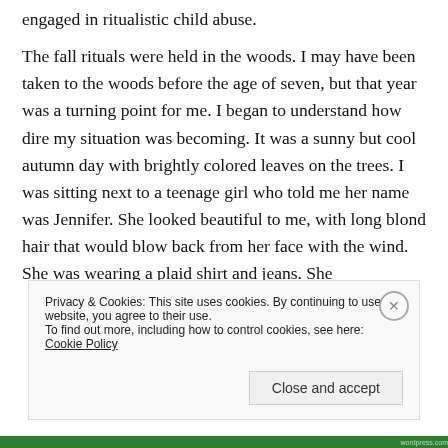engaged in ritualistic child abuse.
The fall rituals were held in the woods. I may have been taken to the woods before the age of seven, but that year was a turning point for me. I began to understand how dire my situation was becoming. It was a sunny but cool autumn day with brightly colored leaves on the trees. I was sitting next to a teenage girl who told me her name was Jennifer. She looked beautiful to me, with long blond hair that would blow back from her face with the wind. She was wearing a plaid shirt and jeans. She
Privacy & Cookies: This site uses cookies. By continuing to use this website, you agree to their use.
To find out more, including how to control cookies, see here: Cookie Policy
Close and accept